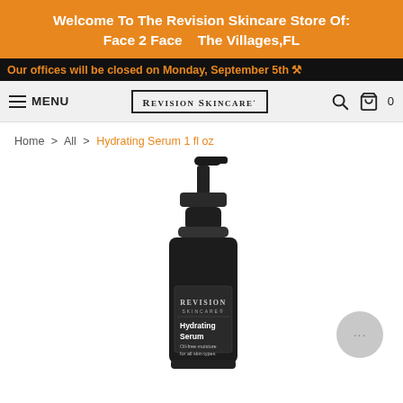Welcome To The Revision Skincare Store Of:
Face 2 Face    The Villages,FL
Our offices will be closed on Monday, September 5th ⚑
≡ MENU  |  REVISION SKINCARE.  |  🔍  🛒 0
Home > All > Hydrating Serum 1 fl oz
[Figure (photo): Black pump bottle of Revision Skincare Hydrating Serum product with label showing 'Hydrating Serum - Oil-free moisture for all skin types']